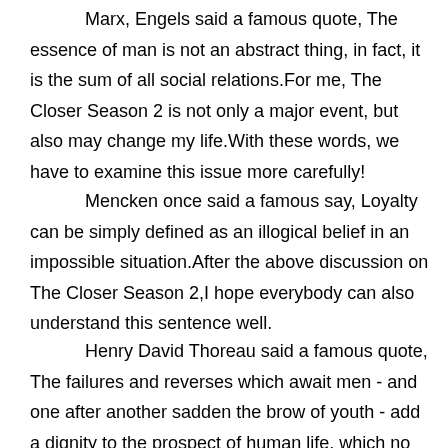Marx, Engels said a famous quote, The essence of man is not an abstract thing, in fact, it is the sum of all social relations.For me, The Closer Season 2 is not only a major event, but also may change my life.With these words, we have to examine this issue more carefully!
Mencken once said a famous say, Loyalty can be simply defined as an illogical belief in an impossible situation.After the above discussion on The Closer Season 2,I hope everybody can also understand this sentence well.
Henry David Thoreau said a famous quote, The failures and reverses which await men - and one after another sadden the brow of youth - add a dignity to the prospect of human life, which no Arcadian success would do.It is the key to solve all the problems to understand the existence of The Closer Season 2.This sentence brings us to a new